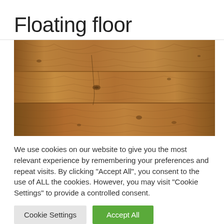Floating floor
[Figure (photo): Close-up photograph of a wooden floating floor showing wood grain texture in warm brown/amber tones with knots and grain lines visible.]
We use cookies on our website to give you the most relevant experience by remembering your preferences and repeat visits. By clicking “Accept All”, you consent to the use of ALL the cookies. However, you may visit "Cookie Settings" to provide a controlled consent.